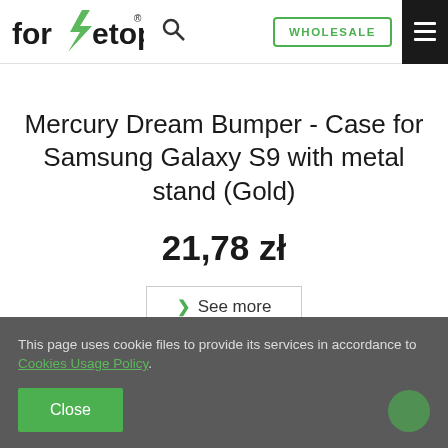[Figure (logo): forcetop logo with green lightning bolt, registered trademark symbol]
Mercury Dream Bumper - Case for Samsung Galaxy S9 with metal stand (Gold)
21,78 zł
See more
This page uses cookie files to provide its services in accordance to Cookies Usage Policy.
Close